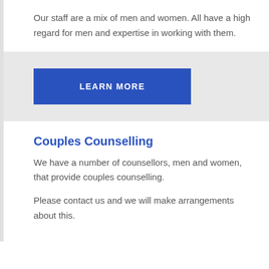Our staff are a mix of men and women. All have a high regard for men and expertise in working with them.
[Figure (other): Blue 'LEARN MORE' call-to-action button on a light grey background]
Couples Counselling
We have a number of counsellors, men and women, that provide couples counselling.
Please contact us and we will make arrangements about this.